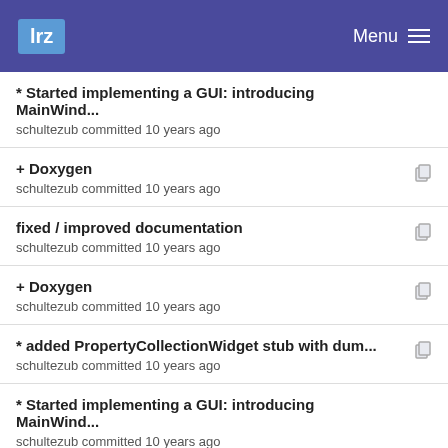lrz   Menu
* Started implementing a GUI: introducing MainWind...
schultezub committed 10 years ago
+ Doxygen
schultezub committed 10 years ago
fixed / improved documentation
schultezub committed 10 years ago
+ Doxygen
schultezub committed 10 years ago
* added PropertyCollectionWidget stub with dum...
schultezub committed 10 years ago
* Started implementing a GUI: introducing MainWind...
schultezub committed 10 years ago
+ Doxygen
schultezub committed 10 years ago